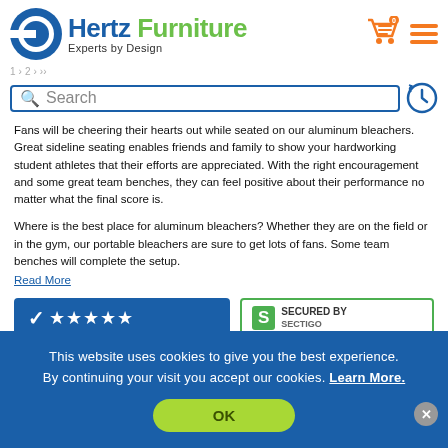[Figure (logo): Hertz Furniture logo with blue icon, blue 'Hertz' and green 'Furniture' text, tagline 'Experts by Design']
[Figure (screenshot): Search bar with blue border, magnifying glass icon, placeholder text 'Search', and history icon]
Fans will be cheering their hearts out while seated on our aluminum bleachers. Great sideline seating enables friends and family to show your hardworking student athletes that their efforts are appreciated. With the right encouragement and some great team benches, they can feel positive about their performance no matter what the final score is.
Where is the best place for aluminum bleachers? Whether they are on the field or in the gym, our portable bleachers are sure to get lots of fans. Some team benches will complete the setup.
Read More
[Figure (screenshot): Two trust badges: blue badge with checkmark and 5 stars, and a green-bordered 'Secured By' badge]
This website uses cookies to give you the best experience. By continuing your visit you accept our cookies. Learn More.
OK